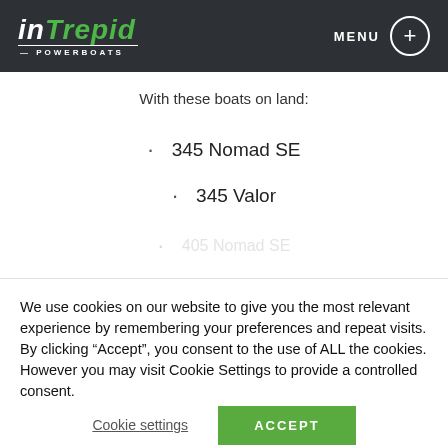Intrepid Powerboats — MENU
With these boats on land:
345 Nomad SE
345 Valor
We use cookies on our website to give you the most relevant experience by remembering your preferences and repeat visits. By clicking “Accept”, you consent to the use of ALL the cookies. However you may visit Cookie Settings to provide a controlled consent.
Cookie settings
ACCEPT